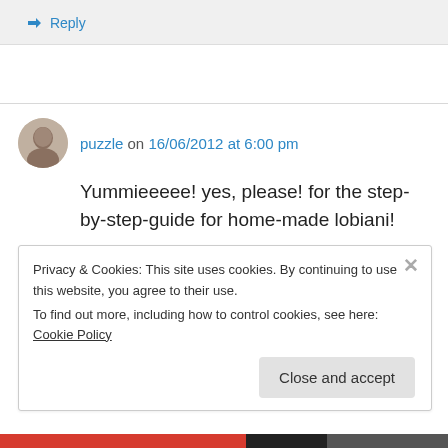↪ Reply
puzzle on 16/06/2012 at 6:00 pm
Yummieeeee! yes, please! for the step-by-step-guide for home-made lobiani!
Privacy & Cookies: This site uses cookies. By continuing to use this website, you agree to their use. To find out more, including how to control cookies, see here: Cookie Policy
Close and accept